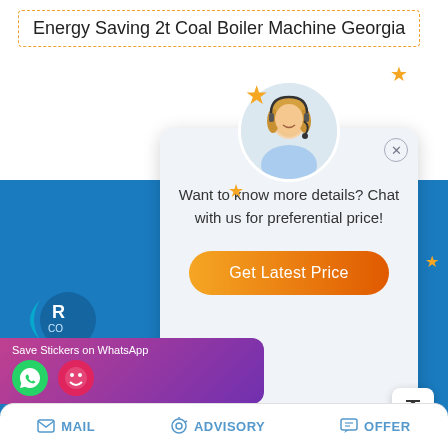Energy Saving 2t Coal Boiler Machine Georgia
[Figure (screenshot): Chat popup with female agent avatar, stars decoration, text 'Want to know more details? Chat with us for preferential price!' and orange 'Get Latest Price' button]
[Figure (logo): Company logo with crescent moon shape, letters R and C visible]
We are an integrated supplier of clean boilers in China, mainly engaged in gas boilers, fuel oil boilers, electric boilers, coal-fired boilers, biomass boilers, etc. If you are interested, please contact us.
[Figure (screenshot): WhatsApp sticker save bar with purple/pink gradient background, WhatsApp and emoji icons]
MAIL   ADVISORY   OFFER